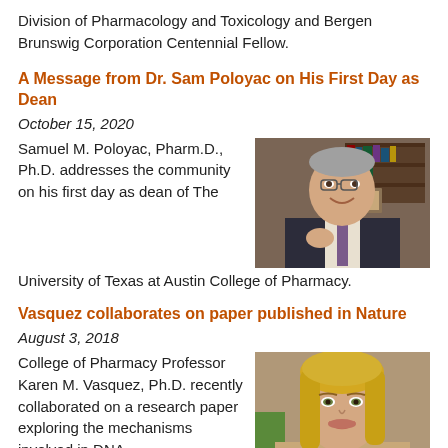Division of Pharmacology and Toxicology and Bergen Brunswig Corporation Centennial Fellow.
A Message from Dr. Sam Poloyac on His First Day as Dean
October 15, 2020
Samuel M. Poloyac, Pharm.D., Ph.D. addresses the community on his first day as dean of The University of Texas at Austin College of Pharmacy.
[Figure (photo): Photo of Samuel M. Poloyac, a man with grey hair, wearing a dark suit, seated in front of a bookshelf]
Vasquez collaborates on paper published in Nature
August 3, 2018
College of Pharmacy Professor Karen M. Vasquez, Ph.D. recently collaborated on a research paper exploring the mechanisms involved in DNA
[Figure (photo): Photo of Karen M. Vasquez, a woman with blonde hair, smiling]